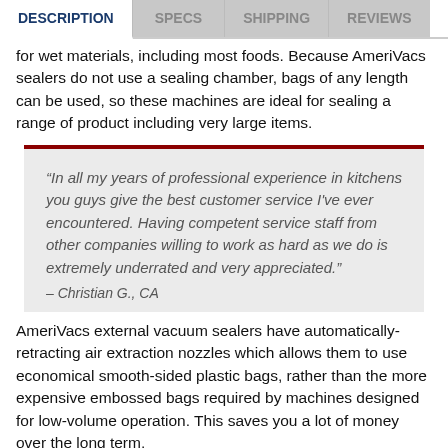DESCRIPTION | SPECS | SHIPPING | REVIEWS
for wet materials, including most foods. Because AmeriVacs sealers do not use a sealing chamber, bags of any length can be used, so these machines are ideal for sealing a range of product including very large items.
“In all my years of professional experience in kitchens you guys give the best customer service I've ever encountered. Having competent service staff from other companies willing to work as hard as we do is extremely underrated and very appreciated.”
– Christian G., CA
AmeriVacs external vacuum sealers have automatically-retracting air extraction nozzles which allows them to use economical smooth-sided plastic bags, rather than the more expensive embossed bags required by machines designed for low-volume operation. This saves you a lot of money over the long term.
Built in the USA, AmeriVacs products have a two year manufacturer’s warranty. These vacuum sealing systems are in